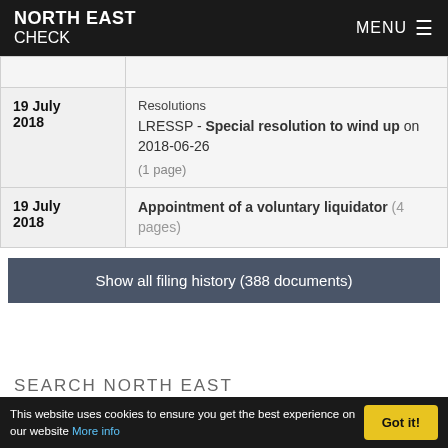NORTH EAST CHECK  MENU
| Date | Description |
| --- | --- |
|  |  |
| 19 July 2018 | Resolutions
LRESSP - Special resolution to wind up on 2018-06-26
(1 page) |
| 19 July 2018 | Appointment of a voluntary liquidator  (4 pages) |
Show all filing history (388 documents)
SEARCH NORTH EAST
This website uses cookies to ensure you get the best experience on our website More info
Got it!